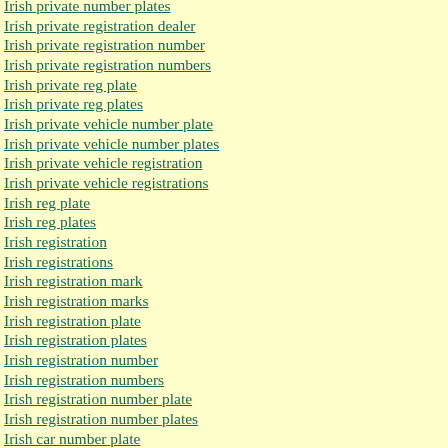Irish private number plates
Irish private registration dealer
Irish private registration number
Irish private registration numbers
Irish private reg plate
Irish private reg plates
Irish private vehicle number plate
Irish private vehicle number plates
Irish private vehicle registration
Irish private vehicle registrations
Irish reg plate
Irish reg plates
Irish registration
Irish registrations
Irish registration mark
Irish registration marks
Irish registration plate
Irish registration plates
Irish registration number
Irish registration numbers
Irish registration number plate
Irish registration number plates
Irish car number plate
Irish car number plates
Isle of Man registration numbers
Isle of Wight registration numbers